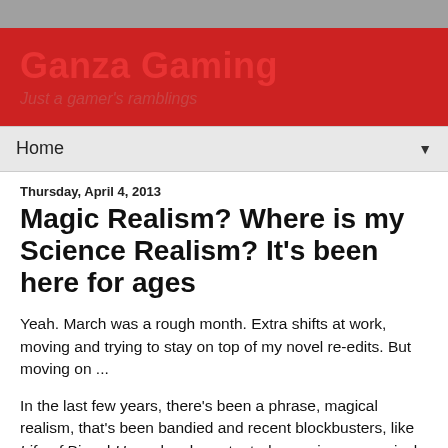Ganza Gaming
Home ▼
Thursday, April 4, 2013
Magic Realism? Where is my Science Realism? It's been here for ages
Yeah. March was a rough month. Extra shifts at work, moving and trying to stay on top of my novel re-edits. But moving on ...
In the last few years, there's been a phrase, magical realism, that's been bandied and recent blockbusters, like Life of Pi and Hugo, has been touted as a cinema magical realism.
What I want to know is where is my Science Realism... and